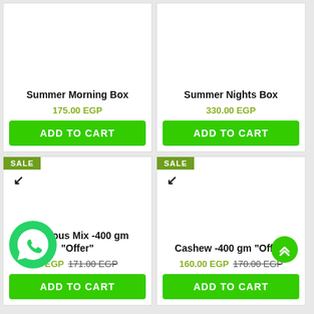Summer Morning Box
175.00 EGP
ADD TO CART
Summer Nights Box
330.00 EGP
ADD TO CART
SALE
Delicious Mix -400 gm "Offer"
0 EGP  171.00 EGP
ADD TO CART
SALE
Cashew -400 gm "Offer"
160.00 EGP  170.00 EGP
ADD TO CART